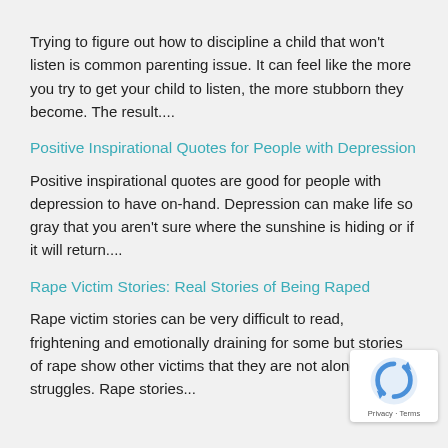Trying to figure out how to discipline a child that won't listen is common parenting issue. It can feel like the more you try to get your child to listen, the more stubborn they become. The result....
Positive Inspirational Quotes for People with Depression
Positive inspirational quotes are good for people with depression to have on-hand. Depression can make life so gray that you aren't sure where the sunshine is hiding or if it will return....
Rape Victim Stories: Real Stories of Being Raped
Rape victim stories can be very difficult to read, frightening and emotionally draining for some but stories of rape show other victims that they are not alone struggles. Rape stories...
[Figure (logo): reCAPTCHA badge with Privacy and Terms text]